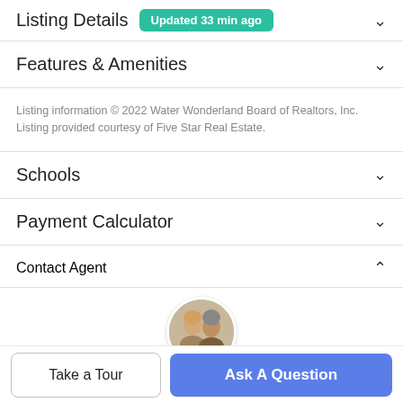Listing Details — Updated 33 min ago
Features & Amenities
Listing information © 2022 Water Wonderland Board of Realtors, Inc. Listing provided courtesy of Five Star Real Estate.
Schools
Payment Calculator
Contact Agent
[Figure (photo): Circular profile photo of two real estate agents (a woman and a man)]
Take a Tour
Ask A Question